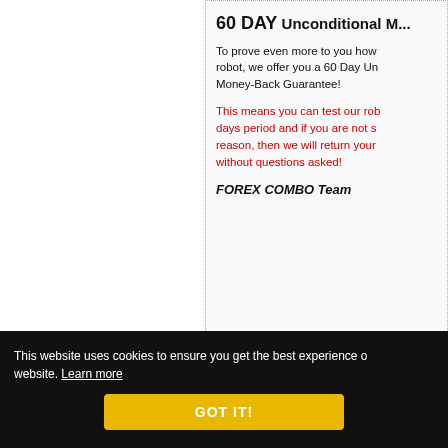60 DAY Unconditional M...
To prove even more to you how robot, we offer you a 60 Day Un Money-Back Guarantee!
This means you can test our rob days period and if you are not s reason, then we will return your without questions asked!
FOREX COMBO Team
This website uses cookies to ensure you get the best experience o website. Learn more
GOT IT!